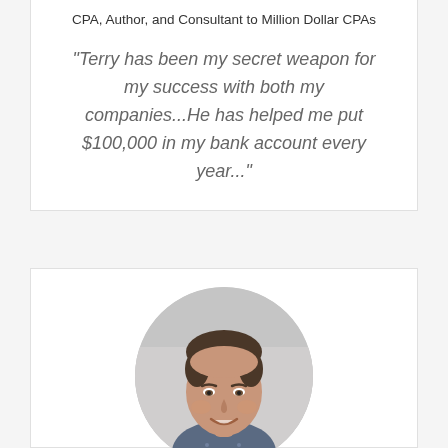CPA, Author, and Consultant to Million Dollar CPAs
"Terry has been my secret weapon for my success with both my companies...He has helped me put $100,000 in my bank account every year..."
[Figure (photo): Circular portrait photo of a middle-aged man with dark hair, smiling, wearing a patterned shirt, against a light gray background.]